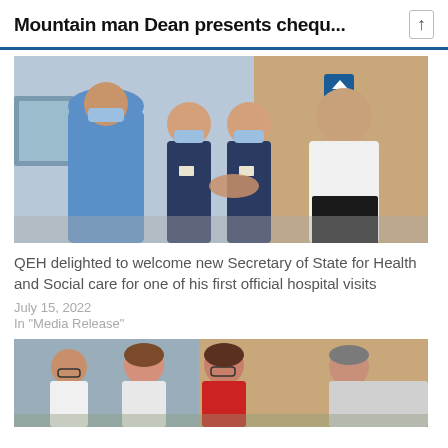Mountain man Dean presents chequ...
[Figure (photo): Healthcare workers in masks standing outside a hospital building shaking hands with a man in a white shirt]
QEH delighted to welcome new Secretary of State for Health and Social care for one of his first official hospital visits
July 15, 2022
In "Media Release"
[Figure (photo): Group of people smiling outside a hospital building, partially cropped]